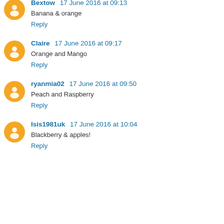Bextow 17 June 2016 at 09:13
Banana & orange
Reply
Claire 17 June 2016 at 09:17
Orange and Mango
Reply
ryanmia02 17 June 2016 at 09:50
Peach and Raspberry
Reply
Isis1981uk 17 June 2016 at 10:04
Blackberry & apples!
Reply